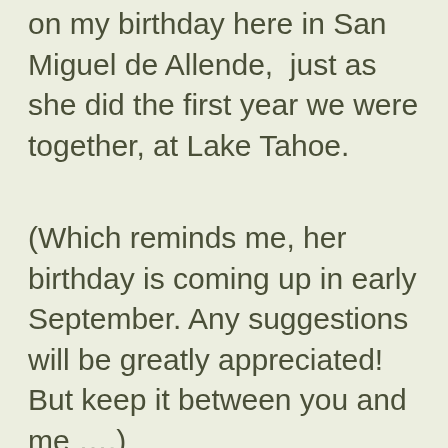on my birthday here in San Miguel de Allende,  just as she did the first year we were together, at Lake Tahoe.
(Which reminds me, her birthday is coming up in early September. Any suggestions will be greatly appreciated! But keep it between you and me ….)
We all boarded one of our favorite island transports, the C-Monkey and an hour and a couple of cold rum punches